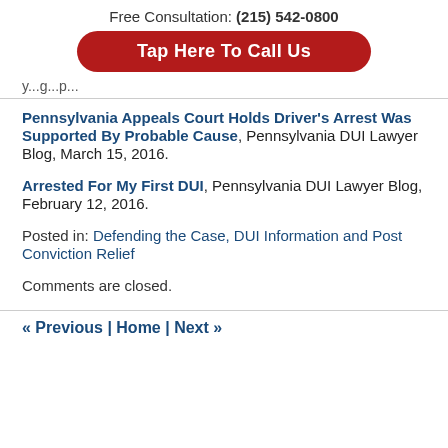Free Consultation: (215) 542-0800
Tap Here To Call Us
...y...g...p...
Pennsylvania Appeals Court Holds Driver’s Arrest Was Supported By Probable Cause, Pennsylvania DUI Lawyer Blog, March 15, 2016.
Arrested For My First DUI, Pennsylvania DUI Lawyer Blog, February 12, 2016.
Posted in: Defending the Case, DUI Information and Post Conviction Relief
Comments are closed.
« Previous | Home | Next »